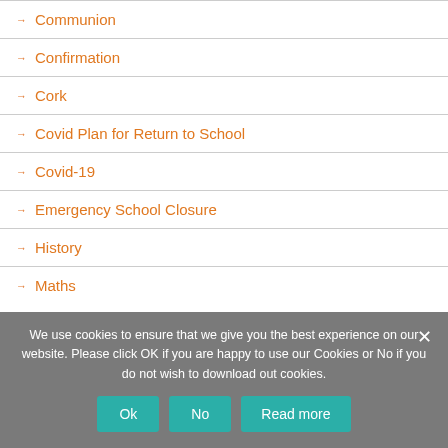→ Communion
→ Confirmation
→ Cork
→ Covid Plan for Return to School
→ Covid-19
→ Emergency School Closure
→ History
→ Maths
We use cookies to ensure that we give you the best experience on our website. Please click OK if you are happy to use our Cookies or No if you do not wish to download out cookies.